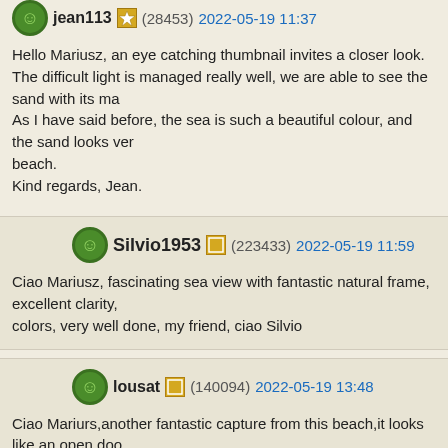jean113 (28453) 2022-05-19 11:37
Hello Mariusz, an eye catching thumbnail invites a closer look.
The difficult light is managed really well, we are able to see the sand with its ma...
As I have said before, the sea is such a beautiful colour, and the sand looks ver... beach.
Kind regards, Jean.
Silvio1953 (223433) 2022-05-19 11:59
Ciao Mariusz, fascinating sea view with fantastic natural frame, excellent clarity,... colors, very well done, my friend, ciao Silvio
lousat (140094) 2022-05-19 13:48
Ciao Mariurs,another fantastic capture from this beach,it looks like an open doo... to have the best beach view and to create this natural black border around! Hav... thanks,Luciano
COSTANTINO (118208) 2022-05-19 22:06
Hello my dearest friend
wow!!!great contrast here...